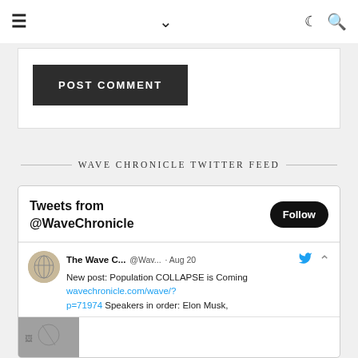≡  ∨  ☽ 🔍
POST COMMENT
WAVE CHRONICLE TWITTER FEED
Tweets from @WaveChronicle
The Wave C... @Wav... · Aug 20
New post: Population COLLAPSE is Coming wavechronicle.com/wave/?p=71974 Speakers in order: Elon Musk,